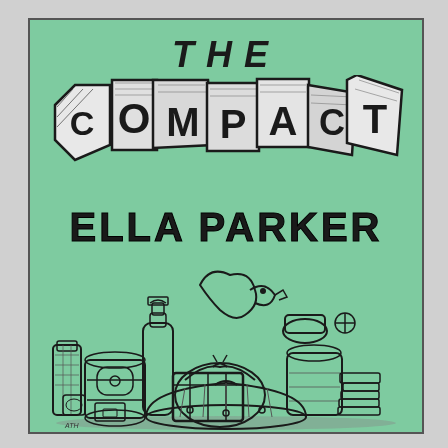THE COMPACT
ELLA PARKER
[Figure (illustration): Hand-drawn illustration of a large pile of miscellaneous objects including barrels, jars, boxes, bottles, a serpent/dinosaur figure, and various household items stacked in a chaotic heap, drawn in black ink on mint green background]